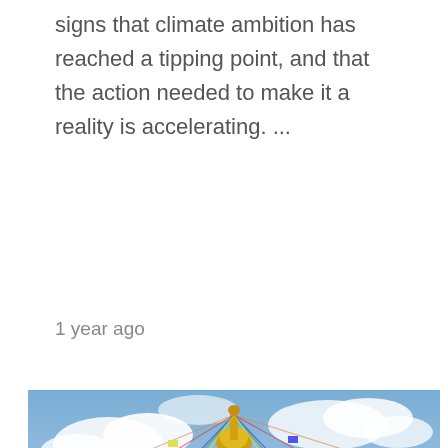signs that climate ambition has reached a tipping point, and that the action needed to make it a reality is accelerating. ...
1 year ago
[Figure (photo): Photograph of a Buddhist stupa (Boudhanath) spire with colorful prayer flags radiating outward, against a partly cloudy blue sky. The golden ornate top of the stupa is visible with prayer flags and decorative lanterns.]